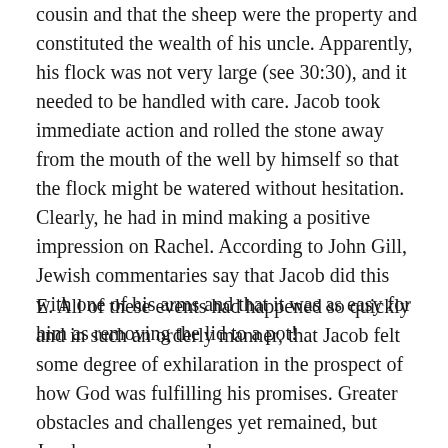cousin and that the sheep were the property and constituted the wealth of his uncle. Apparently, his flock was not very large (see 30:30), and it needed to be handled with care. Jacob took immediate action and rolled the stone away from the mouth of the well by himself so that the flock might be watered without hesitation. Clearly, he had in mind making a positive impression on Rachel. According to John Gill, Jewish commentaries say that Jacob did this with one of his arms and that it was as easy for him as removing the lid to a pot!
E. All of these events had happened so quickly and in such an orderly manner, that Jacob felt some degree of exhilaration in the prospect of how God was fulfilling his promises. Greater obstacles and challenges yet remained, but Jacob was now armed